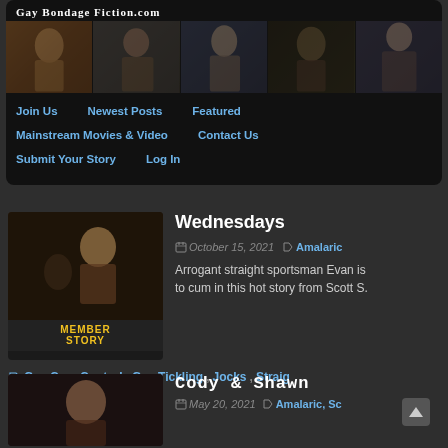[Figure (screenshot): Website header for GayBondageFiction.com with banner images of men]
Gay Bondage Fiction.com
Join Us
Newest Posts
Featured
Mainstream Movies & Video
Contact Us
Submit Your Story
Log In
Wednesdays
October 15, 2021   Amalaric
Arrogant straight sportsman Evan is to cum in this hot story from Scott S.
Gay Cum Control, Gay Tickling, Jocks, Straig
Cody & Shawn
May 20, 2021   Amalaric, Sc